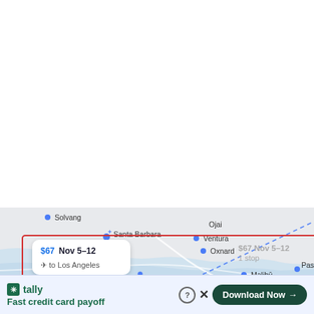[Figure (map): Google Maps-style map showing the Southern California coast including Solvang, Santa Barbara, Ojai, Ventura, Oxnard, Malibu, Los Angeles, Pasadena. A red selection box highlights a region. A flight price card shows $67 Nov 5–12 to Los Angeles. A ghost price label shows $67 Nov 5–12, 1 stop near Pasadena. A dashed route line extends diagonally across the map.]
$67 Nov 5–12  ✈ to Los Angeles
[Figure (screenshot): Advertisement banner for Tally app. Logo: Tally. Tagline: Fast credit card payoff. Button: Download Now →. Close icons: ? and X.]